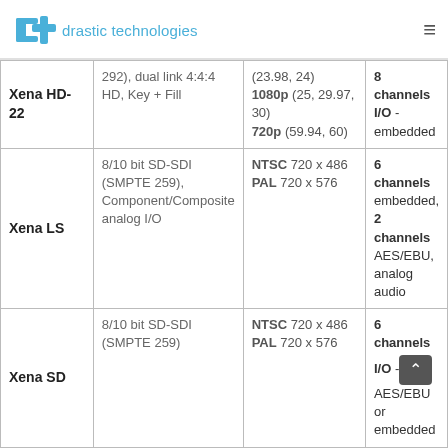drastic technologies
| Product | Signal I/O | Resolutions | Audio |
| --- | --- | --- | --- |
| Xena HD-22 | 292), dual link 4:4:4 HD, Key + Fill | (23.98, 24) 1080p (25, 29.97, 30) 720p (59.94, 60) | 8 channels I/O - embedded |
| Xena LS | 8/10 bit SD-SDI (SMPTE 259), Component/Composite analog I/O | NTSC 720 x 486 PAL 720 x 576 | 6 channels embedded, 2 channels AES/EBU, analog audio |
| Xena SD | 8/10 bit SD-SDI (SMPTE 259) | NTSC 720 x 486 PAL 720 x 576 | 6 channels I/O - AES/EBU or embedded |